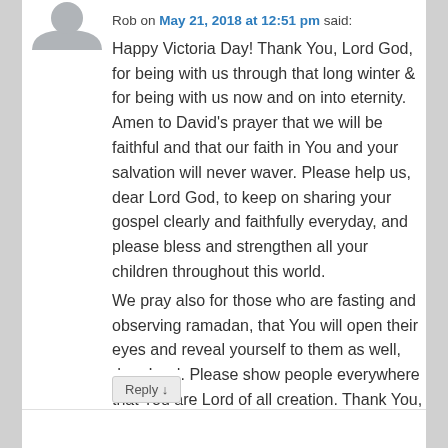[Figure (illustration): Gray avatar/silhouette icon of a person, shown from shoulders up, with rounded head and shoulder outline on white background.]
Rob on May 21, 2018 at 12:51 pm said:
Happy Victoria Day! Thank You, Lord God, for being with us through that long winter & for being with us now and on into eternity. Amen to David's prayer that we will be faithful and that our faith in You and your salvation will never waver. Please help us, dear Lord God, to keep on sharing your gospel clearly and faithfully everyday, and please bless and strengthen all your children throughout this world.
We pray also for those who are fasting and observing ramadan, that You will open their eyes and reveal yourself to them as well, dear Lord. Please show people everywhere that You are Lord of all creation. Thank You, dear Lord God! In Jesus's all-powerful name, amen
Reply ↓